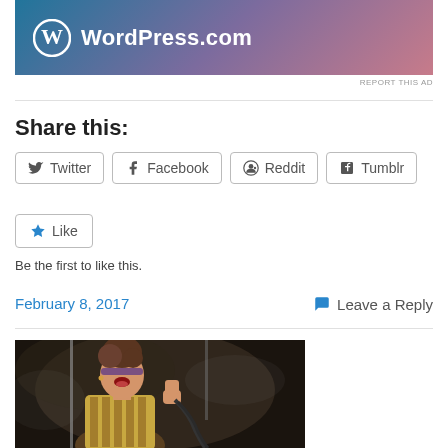[Figure (logo): WordPress.com banner ad with white W logo and text on purple-blue gradient background]
REPORT THIS AD
Share this:
Twitter  Facebook  Reddit  Tumblr
Like  Be the first to like this.
February 8, 2017
Leave a Reply
[Figure (photo): Woman performer with headband and big hair holding microphone, singing on stage with dramatic lighting]